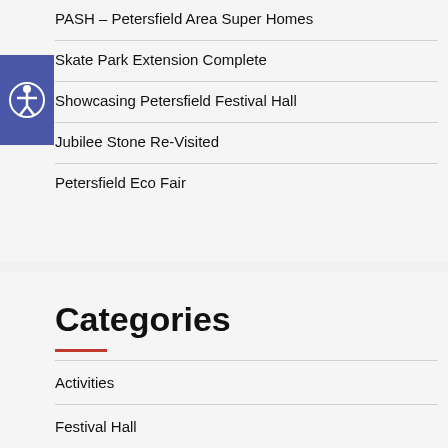PASH – Petersfield Area Super Homes
Skate Park Extension Complete
Showcasing Petersfield Festival Hall
Jubilee Stone Re-Visited
Petersfield Eco Fair
Categories
Activities
Festival Hall